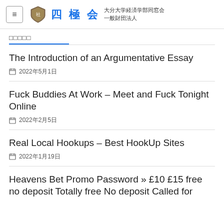四極会 大分大学経済学部同窓会 一般財団法人
□□□□□
The Introduction of an Argumentative Essay
2022年5月1日
Fuck Buddies At Work – Meet and Fuck Tonight Online
2022年2月5日
Real Local Hookups – Best HookUp Sites
2022年1月19日
Heavens Bet Promo Password » £10 £15 free no deposit Totally free No deposit Called for